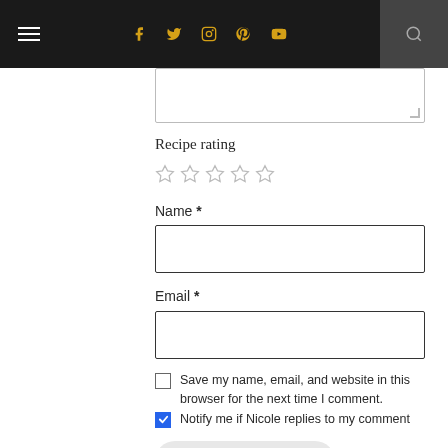Navigation bar with hamburger menu, social icons (Facebook, Twitter, Instagram, Pinterest, YouTube), and search button
Recipe rating
[Figure (other): Five empty star rating icons in a row]
Name *
Email *
Save my name, email, and website in this browser for the next time I comment.
Notify me if Nicole replies to my comment
POST COMMENT